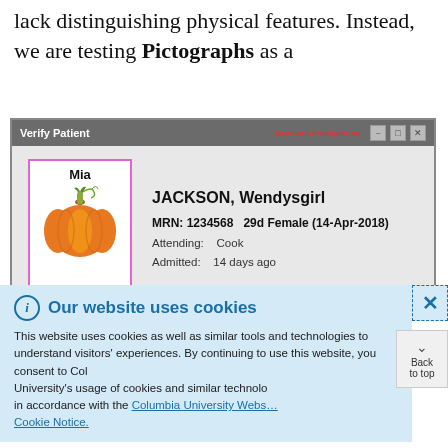lack distinguishing physical features. Instead, we are testing Pictographs as a
[Figure (screenshot): Screenshot of a 'Verify Patient' dialog from New York Presbyterian hospital system showing patient JACKSON, Wendysgirl with MRN 1234568, 29d Female (14-Apr-2018), Attending: Cook, Admitted: 14 days ago. A pictograph of a pumpkin labeled 'Mia' is shown on the left side of the patient record.]
Our website uses cookies

This website uses cookies as well as similar tools and technologies to understand visitors' experiences. By continuing to use this website, you consent to Columbia University's usage of cookies and similar technologies in accordance with the Columbia University Website Cookie Notice.